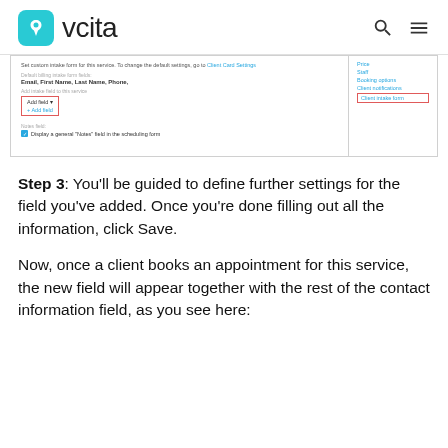vcita
[Figure (screenshot): Screenshot of a vcita service settings page showing client intake form fields with 'Client intake form' highlighted in red border on the right sidebar, and a red-bordered 'Add field' dropdown and 'Add field' button on the left main area. Text includes: 'Set custom intake form for this service. To change the default settings, go to Client Card Settings', 'Default billing intake form fields:', 'Email, First Name, Last Name, Phone,', 'Add field to this service', 'Add field ▾', '+ Add field', 'Notes field:', 'Display a general "Notes" field in the scheduling form'. Right sidebar links: Price, Staff, Booking options, Client notifications, Client intake form (highlighted).]
Step 3: You'll be guided to define further settings for the field you've added. Once you're done filling out all the information, click Save.
Now, once a client books an appointment for this service, the new field will appear together with the rest of the contact information field, as you see here: